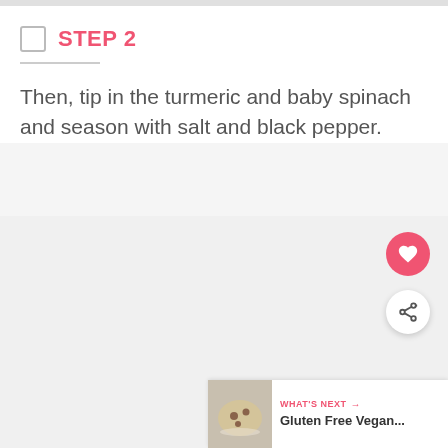STEP 2
Then, tip in the turmeric and baby spinach and season with salt and black pepper.
[Figure (other): What's Next card showing a cookie image with label 'WHAT'S NEXT' and title 'Gluten Free Vegan...']